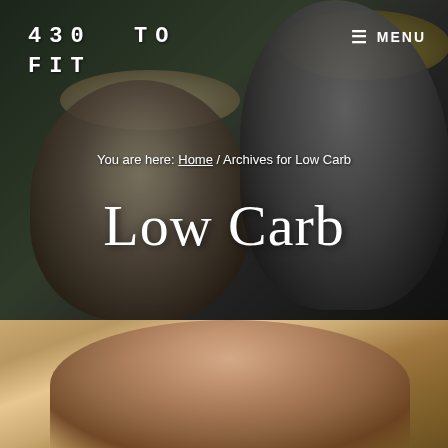430 TO FIT
MENU
You are here: Home / Archives for Low Carb
Low Carb
[Figure (photo): Hero background image showing two people outdoors — a woman wearing a wide-brimmed hat on the left and a man wearing sunglasses and a straw hat on the right]
[Figure (photo): Close-up photo of a woman's face with blonde hair, appearing emotional or speaking]